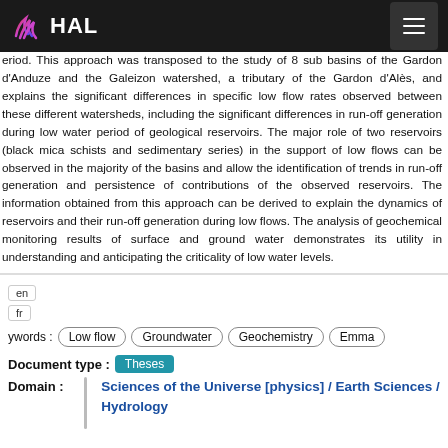HAL
eriod. This approach was transposed to the study of 8 sub basins of the Gardon d'Anduze and the Galeizon watershed, a tributary of the Gardon d'Alès, and explains the significant differences in specific low flow rates observed between these different watersheds, including the significant differences in run-off generation during low water period of geological reservoirs. The major role of two reservoirs (black mica schists and sedimentary series) in the support of low flows can be observed in the majority of the basins and allow the identification of trends in run-off generation and persistence of contributions of the observed reservoirs. The information obtained from this approach can be derived to explain the dynamics of reservoirs and their run-off generation during low flows. The analysis of geochemical monitoring results of surface and ground water demonstrates its utility in understanding and anticipating the criticality of low water levels.
en
fr
Keywords : Low flow  Groundwater  Geochemistry  Emma
Document type : Theses
Domain : Sciences of the Universe [physics] / Earth Sciences / Hydrology